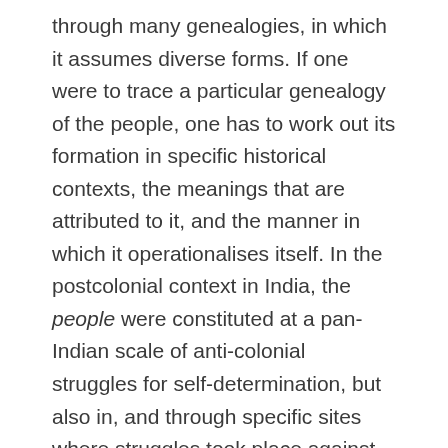through many genealogies, in which it assumes diverse forms. If one were to trace a particular genealogy of the people, one has to work out its formation in specific historical contexts, the meanings that are attributed to it, and the manner in which it operationalises itself. In the postcolonial context in India, the people were constituted at a pan-Indian scale of anti-colonial struggles for self-determination, but also in, and through specific sites where struggles took place against local power formations. The people were also constituted as the repository of sovereign power when they gave themselves the constitution on 26th November 1949 – a Constitution that they had enacted (through the Constituent Assembly). That the people also held constituent power was stated emphatically in Article 395 of the Constitution, which repealed the Indian Independence Act, severed all relations with colonial